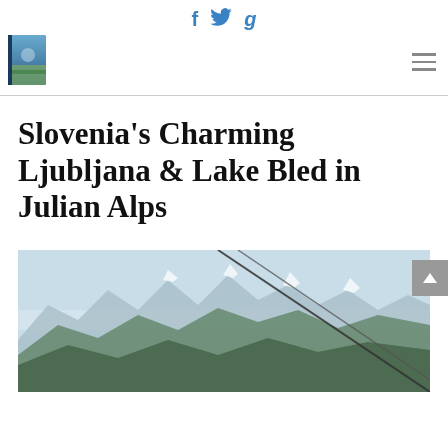f  🐦  g  [book logo] [hamburger menu]
Slovenia’s Charming Ljubljana & Lake Bled in Julian Alps
[Figure (photo): Mountain landscape with snow-capped peaks and cable car wires in foreground, Julian Alps, Slovenia]